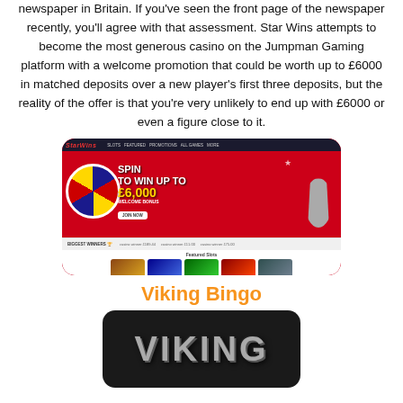newspaper in Britain. If you've seen the front page of the newspaper recently, you'll agree with that assessment. Star Wins attempts to become the most generous casino on the Jumpman Gaming platform with a welcome promotion that could be worth up to £6000 in matched deposits over a new player's first three deposits, but the reality of the offer is that you're very unlikely to end up with £6000 or even a figure close to it.
[Figure (screenshot): Screenshot of the Star Wins casino website showing a red promotional banner with a spin wheel and the text 'SPIN TO WIN UP TO £6,000 WELCOME BONUS' with a JOIN NOW button, and featured slot games below.]
Viking Bingo
[Figure (screenshot): Screenshot of the Viking Bingo website showing a dark background with large metallic 'VIKING' text logo.]